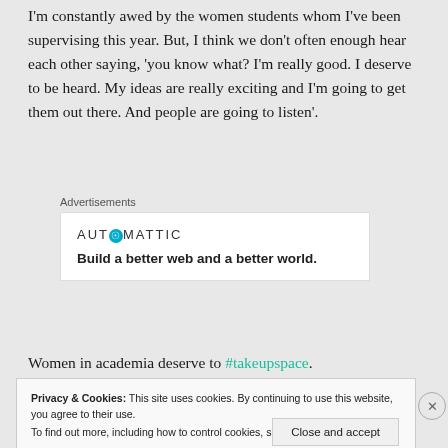I'm constantly awed by the women students whom I've been supervising this year. But, I think we don't often enough hear each other saying, 'you know what? I'm really good. I deserve to be heard. My ideas are really exciting and I'm going to get them out there. And people are going to listen'.
[Figure (other): Automattic advertisement: logo with circular icon and tagline 'Build a better web and a better world.']
Women in academia deserve to #takeupspace.
Privacy & Cookies: This site uses cookies. By continuing to use this website, you agree to their use. To find out more, including how to control cookies, see here: Cookie Policy